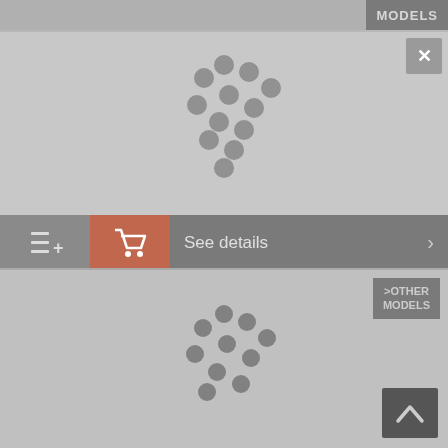MODELS
[Figure (illustration): Dot cluster / loading spinner graphic on gray background]
Siberian Bow Hair, ** Selection
€450.00
(Content: €900.00 / 1 kg)
incl. VAT plus shipping costs
Article No. 117874
See details
>OTHER MODELS
[Figure (illustration): Second dot cluster / loading spinner on gray background (partially visible)]